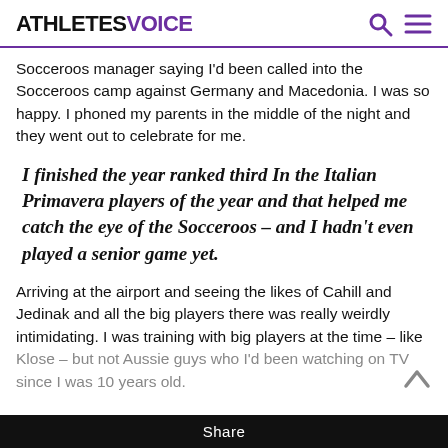ATHLETESVOICE
Socceroos manager saying I'd been called into the Socceroos camp against Germany and Macedonia. I was so happy. I phoned my parents in the middle of the night and they went out to celebrate for me.
I finished the year ranked third In the Italian Primavera players of the year and that helped me catch the eye of the Socceroos – and I hadn't even played a senior game yet.
Arriving at the airport and seeing the likes of Cahill and Jedinak and all the big players there was really weirdly intimidating. I was training with big players at the time – like Klose – but not Aussie guys who I'd been watching on TV since I was 10 years old.
Share